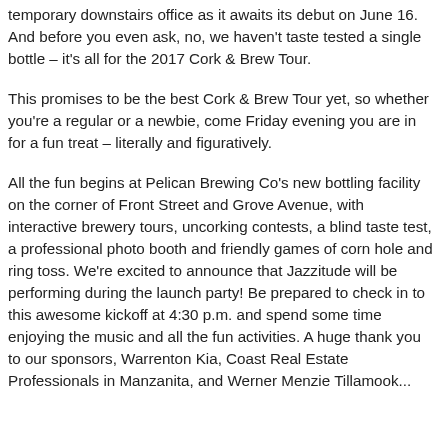temporary downstairs office as it awaits its debut on June 16. And before you even ask, no, we haven't taste tested a single bottle – it's all for the 2017 Cork & Brew Tour.
This promises to be the best Cork & Brew Tour yet, so whether you're a regular or a newbie, come Friday evening you are in for a fun treat – literally and figuratively.
All the fun begins at Pelican Brewing Co's new bottling facility on the corner of Front Street and Grove Avenue, with interactive brewery tours, uncorking contests, a blind taste test, a professional photo booth and friendly games of corn hole and ring toss. We're excited to announce that Jazzitude will be performing during the launch party! Be prepared to check in to this awesome kickoff at 4:30 p.m. and spend some time enjoying the music and all the fun activities. A huge thank you to our sponsors, Warrenton Kia, Coast Real Estate Professionals in Manzanita, and Werner Menzie Tillamook...